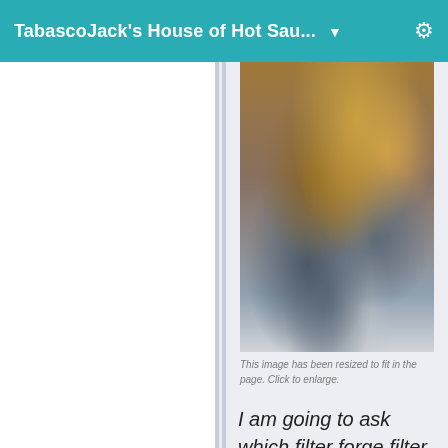TabascoJack's House of Hot Sau... ▼
[Figure (photo): Partial view of a food or spice-related photograph, showing textured orange, brown, and blue-gray tones, likely a hot sauce or seasoning ingredient.]
This image has been resized to fit in the page. Click to enlarge.
I am going to ask which filter forge filter did you use.  please